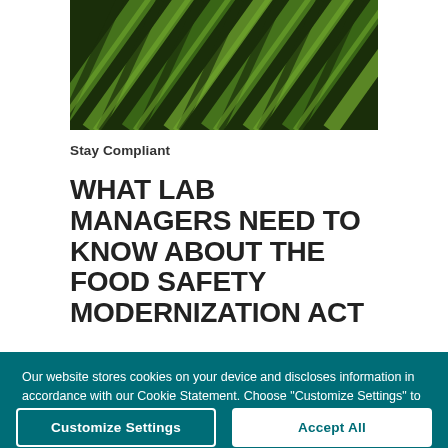[Figure (photo): Aerial or close-up view of agricultural field rows with green crops and dark soil in diagonal striped pattern]
Stay Compliant
WHAT LAB MANAGERS NEED TO KNOW ABOUT THE FOOD SAFETY MODERNIZATION ACT
The agricultural water standards included in the
Our website stores cookies on your device and discloses information in accordance with our Cookie Statement. Choose "Customize Settings" to control cookies. We may collect certain aggregate and anonymized data from your browser independent of your cookie preferences. Cookie Statement
Customize Settings
Accept All